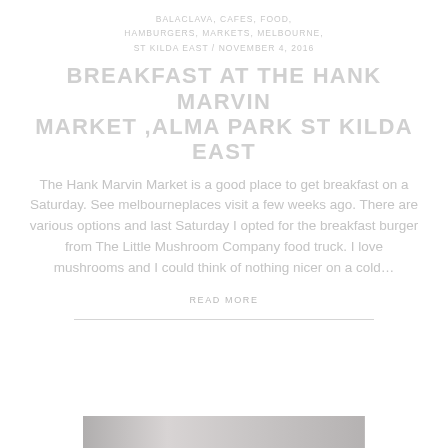BALACLAVA, CAFES, FOOD, HAMBURGERS, MARKETS, MELBOURNE, ST KILDA EAST / NOVEMBER 4, 2016
BREAKFAST AT THE HANK MARVIN MARKET ,ALMA PARK ST KILDA EAST
The Hank Marvin Market is a good place to get breakfast on a Saturday. See melbourneplaces visit a few weeks ago. There are various options and last Saturday I opted for the breakfast burger from The Little Mushroom Company food truck. I love mushrooms and I could think of nothing nicer on a cold...
READ MORE
[Figure (photo): A partial image strip visible at the bottom of the page, showing a blurred/faded market or food scene]